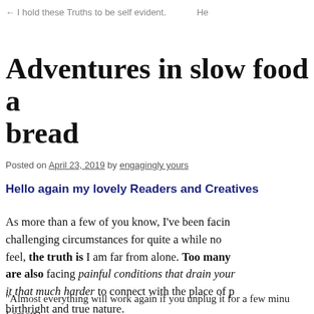← I hold these Truths to be self evident.    He
Adventures in slow food a bread
Posted on April 23, 2019 by engagingly yours
Hello again my lovely Readers and Creatives
As more than a few of you know, I've been facing challenging circumstances for quite a while no feel, the truth is I am far from alone. Too many are also facing painful conditions that drain your it that much harder to connect with the place of p birthright and true nature.
“Almost everything will work again if you unplug it for a few minu Lamott